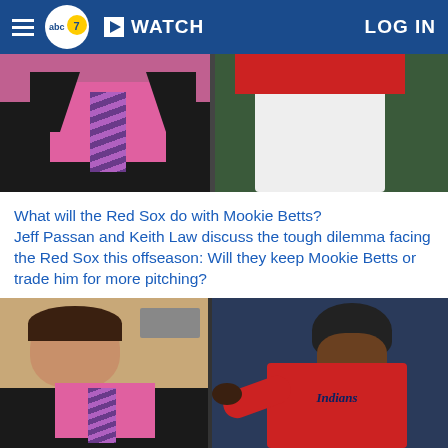abc7 | WATCH | LOG IN
[Figure (photo): Two-panel top image: left shows a man in a pink shirt, dark jacket, and striped tie; right shows a baseball player in white uniform pants from waist down.]
What will the Red Sox do with Mookie Betts?
Jeff Passan and Keith Law discuss the tough dilemma facing the Red Sox this offseason: Will they keep Mookie Betts or trade him for more pitching?
[Figure (photo): Two-panel bottom image: left shows a man in a pink shirt and dark blazer with a striped tie sitting in an office; right shows a baseball player in a red Cleveland Indians uniform running the bases wearing a helmet.]